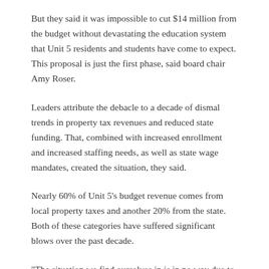But they said it was impossible to cut $14 million from the budget without devastating the education system that Unit 5 residents and students have come to expect. This proposal is just the first phase, said board chair Amy Roser.
Leaders attribute the debacle to a decade of dismal trends in property tax revenues and reduced state funding. That, combined with increased enrollment and increased staffing needs, as well as state wage mandates, created the situation, they said.
Nearly 60% of Unit 5’s budget revenue comes from local property taxes and another 20% from the state. Both of these categories have suffered significant blows over the past decade.
“The situation we find ourselves in is in no way due to mismanagement of funds. It’s a variety of factors that got us to where we are today,” Weikle said.